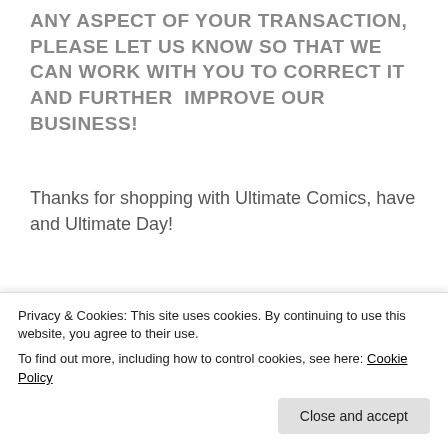ANY ASPECT OF YOUR TRANSACTION, PLEASE LET US KNOW SO THAT WE CAN WORK WITH YOU TO CORRECT IT AND FURTHER  IMPROVE OUR BUSINESS!
Thanks for shopping with Ultimate Comics, have and Ultimate Day!
RELATED PRODUCTS
[Figure (illustration): Avengers vs X-Men Marvel comic book cover image showing orange and black design with text 'AVENGERS VS X-MEN' and 'MARVEL' red badge]
Privacy & Cookies: This site uses cookies. By continuing to use this website, you agree to their use.
To find out more, including how to control cookies, see here: Cookie Policy
Close and accept